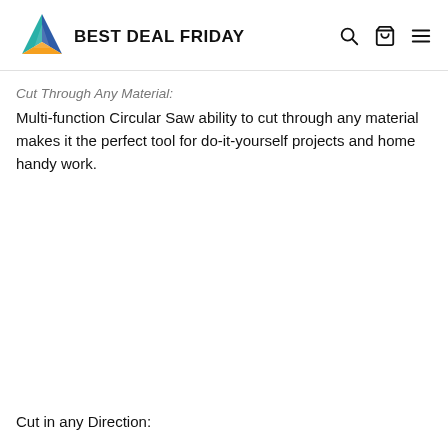BEST DEAL FRIDAY
Cut Through Any Material:
Multi-function Circular Saw ability to cut through any material makes it the perfect tool for do-it-yourself projects and home handy work.
Cut in any Direction: